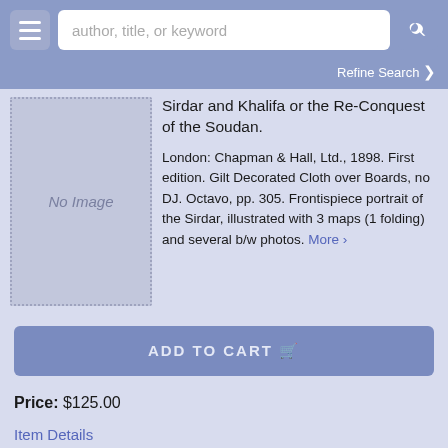[Figure (screenshot): Website navigation bar with hamburger menu, search input reading 'author, title, or keyword', and search icon button]
Refine Search ❯
[Figure (illustration): Book placeholder image with 'No Image' text]
Sirdar and Khalifa or the Re-Conquest of the Soudan.
London: Chapman & Hall, Ltd., 1898. First edition. Gilt Decorated Cloth over Boards, no DJ. Octavo, pp. 305. Frontispiece portrait of the Sirdar, illustrated with 3 maps (1 folding) and several b/w photos. More ›
ADD TO CART 🛒
Price: $125.00
Item Details
Ask a Question